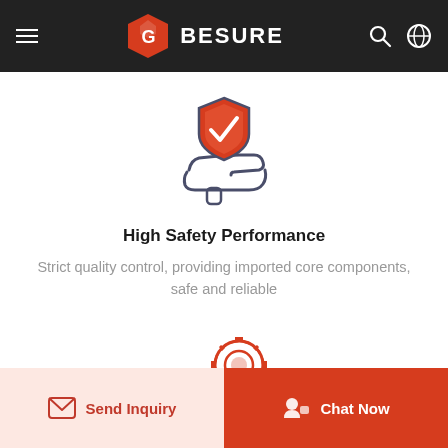BESURE
[Figure (illustration): Hand holding a shield with checkmark icon — quality/safety symbol in dark gray outline with red/orange filled shield]
High Safety Performance
Strict quality control, providing imported core components, safe and reliable
[Figure (illustration): Factory conveyor belt with a box and gear icon — manufacturing/production symbol in dark gray outline with red/orange accent]
Send Inquiry
Chat Now